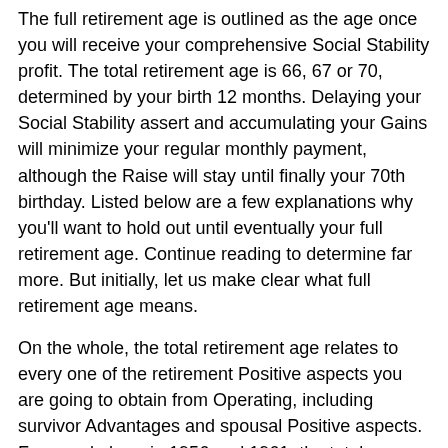The full retirement age is outlined as the age once you will receive your comprehensive Social Stability profit. The total retirement age is 66, 67 or 70, determined by your birth 12 months. Delaying your Social Stability assert and accumulating your Gains will minimize your regular monthly payment, although the Raise will stay until finally your 70th birthday. Listed below are a few explanations why you'll want to hold out until eventually your full retirement age. Continue reading to determine far more. But initially, let us make clear what full retirement age means.
On the whole, the total retirement age relates to every one of the retirement Positive aspects you are going to obtain from Operating, including survivor Advantages and spousal Positive aspects. For people born in 1956 and 1961, the total retirement age is 66. For those born in 1962, the full retirement age is 67. Added benefits will begin to be paid less when you declare ahead of this age. Even so, you can start acquiring your benefits before, commencing at age sixty two.